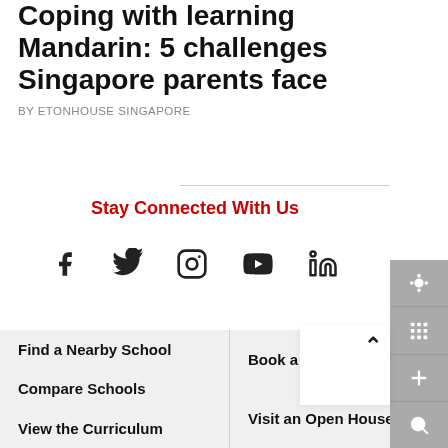Coping with learning Mandarin: 5 challenges Singapore parents face
BY ETONHOUSE SINGAPORE
Stay Connected With Us
[Figure (infographic): Social media icons: Facebook, Twitter, Instagram, YouTube, LinkedIn]
Find a Nearby School
Compare Schools
View the Curriculum
Book a
Visit an Open House